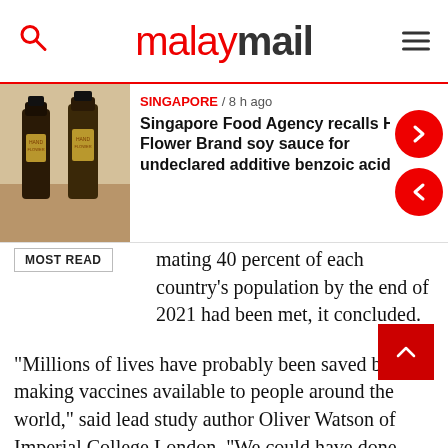malaymail
[Figure (photo): Photo of two bottles of Hand Flower Brand soy sauce]
SINGAPORE / 8 h ago
Singapore Food Agency recalls Hand Flower Brand soy sauce for undeclared additive benzoic acid
MOST READ
mating 40 percent of each country's population by the end of 2021 had been met, it concluded.
“Millions of lives have probably been saved by making vaccines available to people around the world,” said lead study author Oliver Watson of Imperial College London. “We could have done more,” he said.
Covid has officially killed more than 6.3 million people globally, according to the WHO.
But the organisation said last month the real number could be as high as 15 million, when all direct and indirect causes are accounted for.